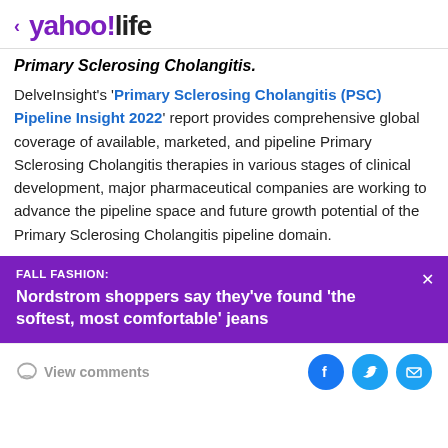< yahoo!life
Primary Sclerosing Cholangitis.
DelveInsight's 'Primary Sclerosing Cholangitis (PSC) Pipeline Insight 2022' report provides comprehensive global coverage of available, marketed, and pipeline Primary Sclerosing Cholangitis therapies in various stages of clinical development, major pharmaceutical companies are working to advance the pipeline space and future growth potential of the Primary Sclerosing Cholangitis pipeline domain.
[Figure (infographic): Purple promotional banner reading 'FALL FASHION: Nordstrom shoppers say they’ve found ‘the softest, most comfortable’ jeans' with a close (x) button]
View comments